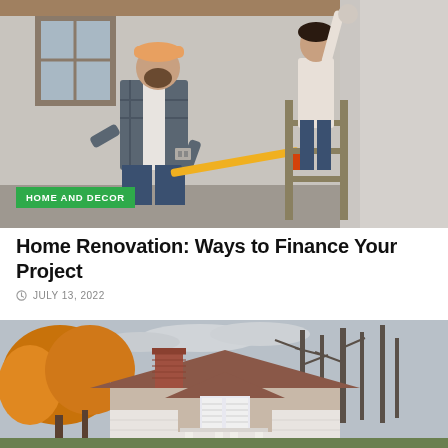[Figure (photo): Two people renovating a room interior: a man in a plaid shirt and cap holding a long yellow tool, and a person on a ladder working on the ceiling/wall. The room is under renovation with bare walls.]
HOME AND DECOR
Home Renovation: Ways to Finance Your Project
JULY 13, 2022
[Figure (photo): Exterior photo of a small house with brick chimney, surrounded by autumn trees with orange and yellow foliage and tall bare trees against a cloudy sky.]